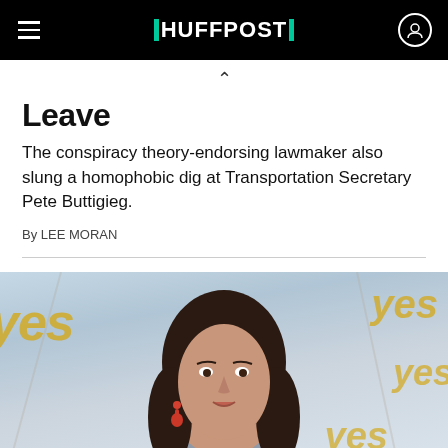HUFFPOST
Leave
The conspiracy theory-endorsing lawmaker also slung a homophobic dig at Transportation Secretary Pete Buttigieg.
By LEE MORAN
[Figure (photo): Portrait photo of a dark-haired woman smiling, in front of a background with 'yes' text in gold/yellow, background is light blue/white]